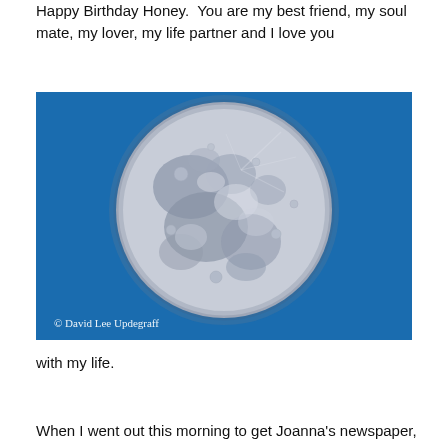Happy Birthday Honey.  You are my best friend, my soul mate, my lover, my life partner and I love you
[Figure (photo): A high-resolution photograph of a nearly full moon against a vivid blue daytime sky. The moon shows detailed surface features including craters and maria. A cursive signature reading '© David Lee Updegraff' appears in white at the bottom left of the image.]
with my life.
When I went out this morning to get Joanna's newspaper,